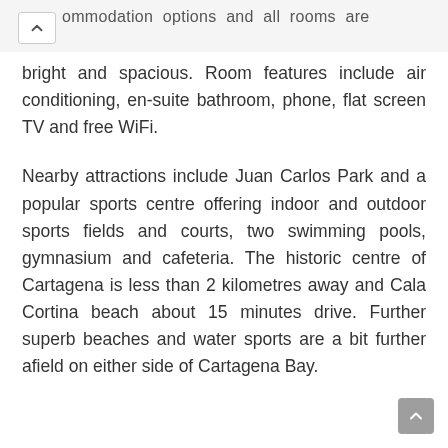...ommodation options and all rooms are bright and spacious. Room features include air conditioning, en-suite bathroom, phone, flat screen TV and free WiFi.
Nearby attractions include Juan Carlos Park and a popular sports centre offering indoor and outdoor sports fields and courts, two swimming pools, gymnasium and cafeteria. The historic centre of Cartagena is less than 2 kilometres away and Cala Cortina beach about 15 minutes drive. Further superb beaches and water sports are a bit further afield on either side of Cartagena Bay.